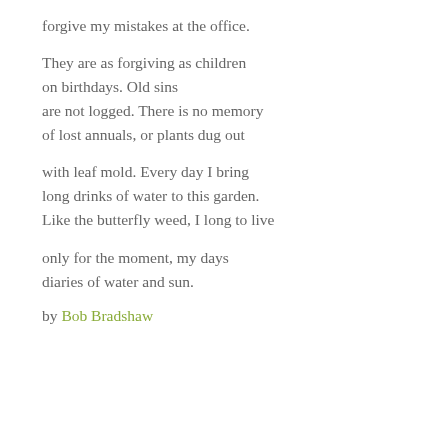forgive my mistakes at the office.
They are as forgiving as children
on birthdays. Old sins
are not logged. There is no memory
of lost annuals, or plants dug out
with leaf mold. Every day I bring
long drinks of water to this garden.
Like the butterfly weed, I long to live
only for the moment, my days
diaries of water and sun.
by Bob Bradshaw